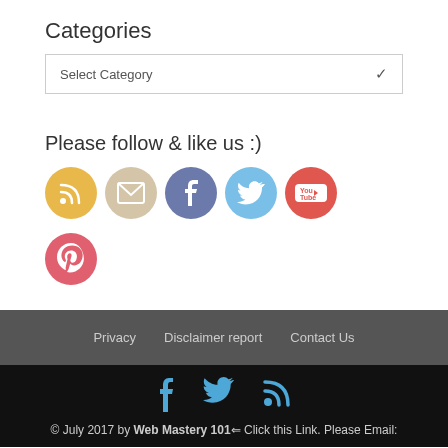Categories
[Figure (screenshot): A dropdown select box with text 'Select Category' and a down arrow]
Please follow & like us :)
[Figure (infographic): Six social media icon circles: RSS (yellow), Email (beige), Facebook (blue-grey), Twitter (light blue), YouTube (red), Pinterest (pink-red)]
Privacy   Disclaimer report   Contact Us
© July 2017 by Web Mastery 101⇐ Click this Link. Please Email: